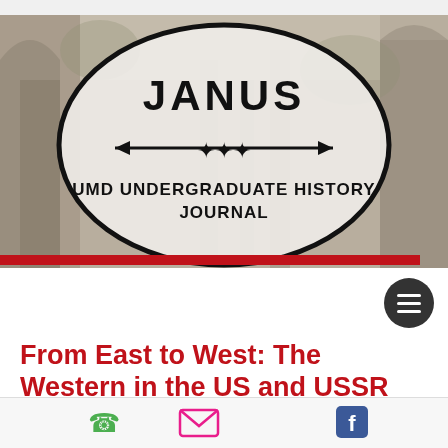[Figure (logo): Janus UMD Undergraduate History Journal logo — oval with text JANUS, double-headed arrow, and UMD UNDERGRADUATE HISTORY JOURNAL, overlaid on a sepia ruins engraving background]
From East to West: The Western in the US and USSR
The Western is a genre of movie that
[Figure (other): Bottom navigation bar with phone icon (green), email icon (pink/magenta), and Facebook icon (blue)]